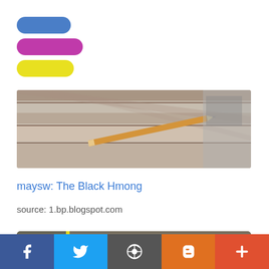[Figure (logo): Three stacked rounded pill shapes: blue, pink/magenta, yellow - a brand logo]
[Figure (photo): Wide banner photo showing a pencil resting on wooden boards/desk surface with sewing machine visible at right edge]
maysw: The Black Hmong
source: 1.bp.blogspot.com
[Figure (photo): Bottom partial photo showing brick wall corner with a vertical yellow stripe]
[Figure (infographic): Social sharing bar with five buttons: Facebook (dark blue), Twitter (light blue), WordPress (grey), Blogger (orange), Plus/more (red-orange)]